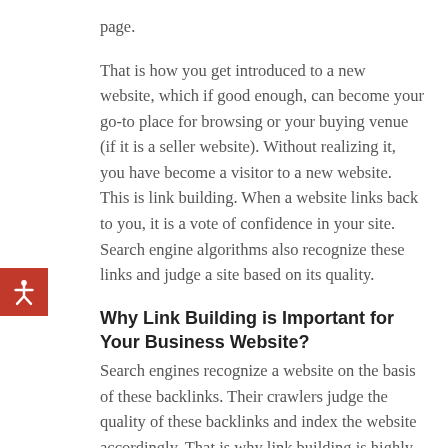page.
That is how you get introduced to a new website, which if good enough, can become your go-to place for browsing or your buying venue (if it is a seller website). Without realizing it, you have become a visitor to a new website. This is link building. When a website links back to you, it is a vote of confidence in your site. Search engine algorithms also recognize these links and judge a site based on its quality.
Why Link Building is Important for Your Business Website?
Search engines recognize a website on the basis of these backlinks. Their crawlers judge the quality of these backlinks and index the website accordingly. That is why link building is highly important for the ranking of your website. According to an estimate, 75 percent of internet users do not scroll past the first page. If you are not in the top results of a search engine, you might